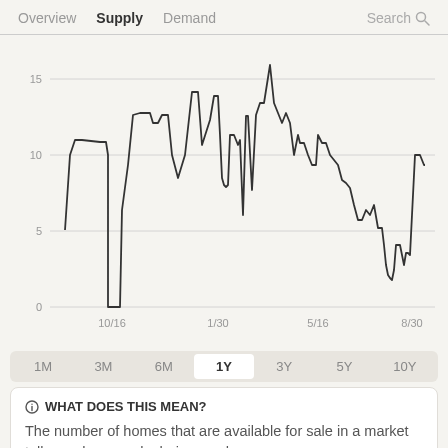Overview  Supply  Demand  Search
[Figure (continuous-plot): Line chart showing supply (number of homes available) over approximately 1 year. Y-axis ranges from 0 to 15+. X-axis shows dates 10/16, 1/30, 5/16, 8/30. The line fluctuates irregularly: starts around 10-11, dips near 0 around 10/16, recovers to ~13 by late 10/16 to 1/30, drops to ~4.5 around 1/30, climbs to ~13 around 5/16 with a spike to ~16, then gradually declines to ~8-9 range by 8/30.]
1M  3M  6M  1Y  3Y  5Y  10Y
WHAT DOES THIS MEAN?
The number of homes that are available for sale in a market tells you how much choice you have.